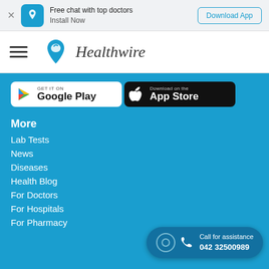Free chat with top doctors Install Now | Download App
[Figure (logo): Healthwire logo with teal shield/location pin icon and italic text 'Healthwire']
[Figure (screenshot): GET IT ON Google Play badge (white background, Google Play triangle logo)]
[Figure (screenshot): Download on the App Store badge (black background, Apple logo)]
More
Lab Tests
News
Diseases
Health Blog
For Doctors
For Hospitals
For Pharmacy
Call for assistance 042 32500989